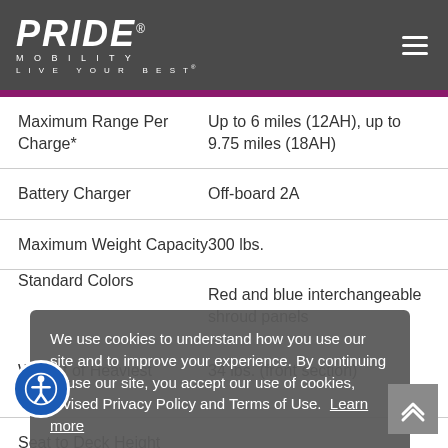PRIDE MOBILITY LIVE YOUR BEST
| Specification | Value |
| --- | --- |
| Maximum Range Per Charge* | Up to 6 miles (12AH), up to 9.75 miles (18AH) |
| Battery Charger | Off-board 2A |
| Maximum Weight Capacity | 300 lbs. |
| Standard Colors | Red and blue interchangeable shroud panels |
| Weight of Heaviest Piece** | 34 lbs. (front section) |
| Seat to Deck Height |  |
We use cookies to understand how you use our site and to improve your experience. By continuing to use our site, you accept our use of cookies, revised Privacy Policy and Terms of Use. Learn more
Click Here to Accept